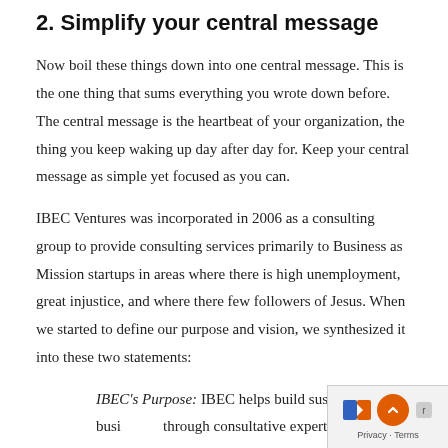2. Simplify your central message
Now boil these things down into one central message. This is the one thing that sums everything you wrote down before. The central message is the heartbeat of your organization, the thing you keep waking up day after day for. Keep your central message as simple yet focused as you can.
IBEC Ventures was incorporated in 2006 as a consulting group to provide consulting services primarily to Business as Mission startups in areas where there is high unemployment, great injustice, and where there few followers of Jesus. When we started to define our purpose and vision, we synthesized it into these two statements:
IBEC's Purpose: IBEC helps build sustainable busi… through consultative expertise that changes lives and…